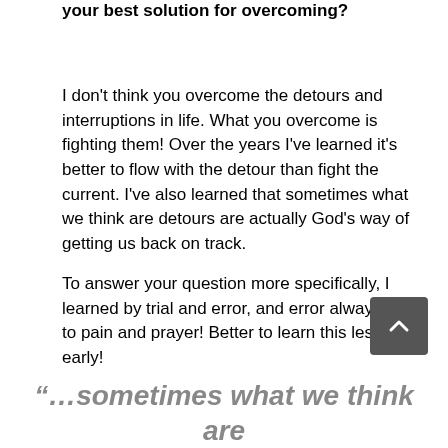your best solution for overcoming?
I don't think you overcome the detours and interruptions in life. What you overcome is fighting them! Over the years I've learned it's better to flow with the detour than fight the current. I've also learned that sometimes what we think are detours are actually God's way of getting us back on track.
To answer your question more specifically, I learned by trial and error, and error always led to pain and prayer! Better to learn this lesson early!
[Figure (other): Back to top button - dark gray rounded square with upward chevron arrow]
“…sometimes what we think are